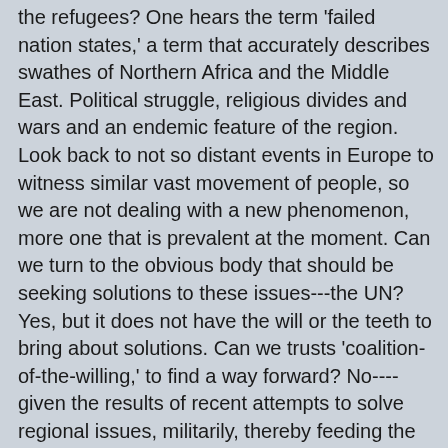the refugees? One hears the term 'failed nation states,' a term that accurately describes swathes of Northern Africa and the Middle East. Political struggle, religious divides and wars and an endemic feature of the region. Look back to not so distant events in Europe to witness similar vast movement of people, so we are not dealing with a new phenomenon, more one that is prevalent at the moment. Can we turn to the obvious body that should be seeking solutions to these issues---the UN? Yes, but it does not have the will or the teeth to bring about solutions. Can we trusts 'coalition-of-the-willing,' to find a way forward? No----given the results of recent attempts to solve regional issues, militarily, thereby feeding the rise of extremism, in the form of ISIS Boko Haram and similar groups. Would massive 'economic aid' to the 'countries of origin,' of the refugees work? Not unless those with the political control can work with their populations to forge a better future. I see little evidence that pouring aid into these countries will deliver hope to the people who need it most. The divisions, both historical and more recent, brought about by a combination of colonization and much older divisions, continues to create barriers to peace. I feel pessimistic about just what the future holds, given the history